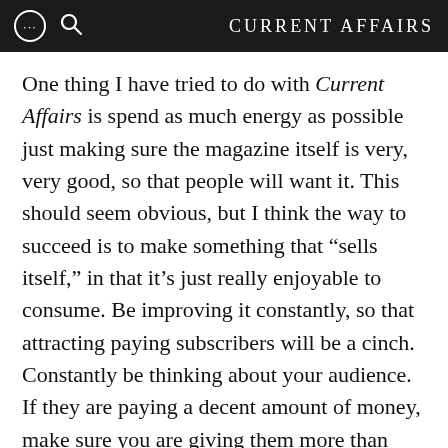CURRENT AFFAIRS
One thing I have tried to do with Current Affairs is spend as much energy as possible just making sure the magazine itself is very, very good, so that people will want it. This should seem obvious, but I think the way to succeed is to make something that “sells itself,” in that it’s just really enjoyable to consume. Be improving it constantly, so that attracting paying subscribers will be a cinch. Constantly be thinking about your audience. If they are paying a decent amount of money, make sure you are giving them more than their money’s